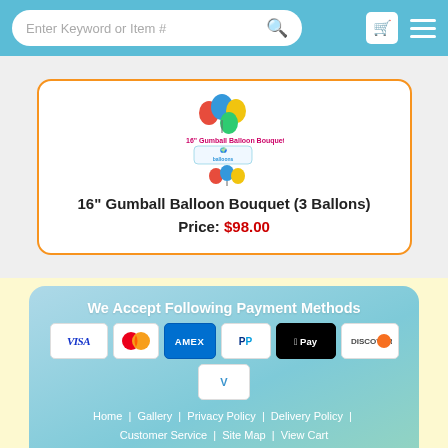Enter Keyword or Item #
16" Gumball Balloon Bouquet (3 Ballons)
Price: $98.00
We Accept Following Payment Methods
[Figure (logo): Payment method logos: VISA, Mastercard, AMEX, PayPal, Apple Pay, Discover, Venmo]
Home | Gallery | Privacy Policy | Delivery Policy | Customer Service | Site Map | View Cart
Contact Us © WorldBalloonsNYC 2022. All Rights Reserved.